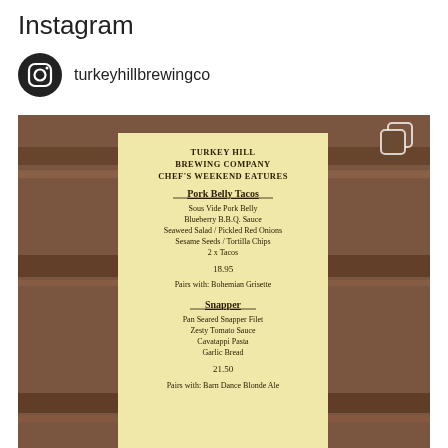Instagram
turkeyhillbrewingco
[Figure (photo): Instagram post showing a menu card for Turkey Hill Brewing Company Chef's Weekend Features, placed on a wooden barrel. The menu card lists two dishes: Pork Belly Tacos (Sous Vide Pork Belly, Blueberry B.B.Q. Sauce, Seaweed Salad / Pickled Red Onions, Sesame Seeds / Tortilla Chips, 2 x Tacos, 18.95, Pairs with: Bohemian Grisette) and Snapper (Pan Seared Snapper Filet, Zesty Tomato Sauce, Cavatappi Pasta, Garlic Bread, 21.50, Pairs with: Barn Dance Blonde Ale).]